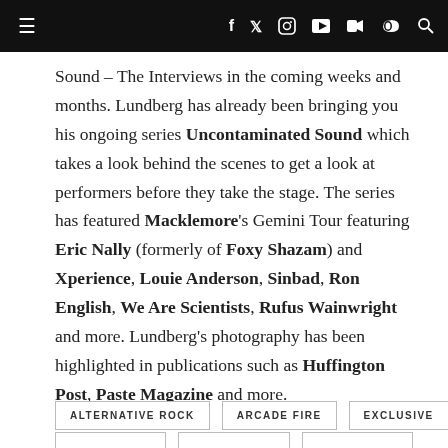Navigation bar with hamburger menu and social icons (Facebook, Twitter, Instagram, YouTube, Flickr, SoundCloud, Search)
Sound – The Interviews in the coming weeks and months. Lundberg has already been bringing you his ongoing series Uncontaminated Sound which takes a look behind the scenes to get a look at performers before they take the stage. The series has featured Macklemore's Gemini Tour featuring Eric Nally (formerly of Foxy Shazam) and Xperience, Louie Anderson, Sinbad, Ron English, We Are Scientists, Rufus Wainwright and more. Lundberg's photography has been highlighted in publications such as Huffington Post, Paste Magazine and more.
ALTERNATIVE ROCK
ARCADE FIRE
EXCLUSIVE